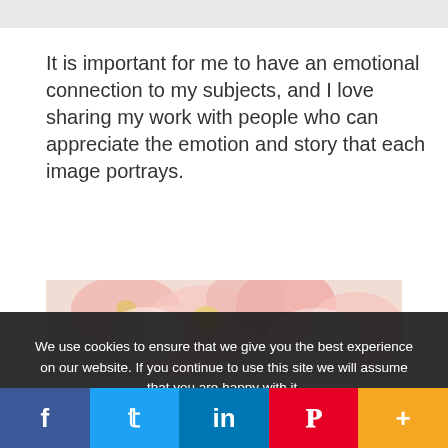[Figure (photo): Top gray bar, partial image at top of page]
It is important for me to have an emotional connection to my subjects, and I love sharing my work with people who can appreciate the emotion and story that each image portrays.
[Figure (photo): Close-up photo of pink and white flowers]
We use cookies to ensure that we give you the best experience on our website. If you continue to use this site we will assume that you are happy with it.
[Figure (infographic): Social media sharing bar with Facebook, Twitter, LinkedIn, Pinterest, and More buttons]